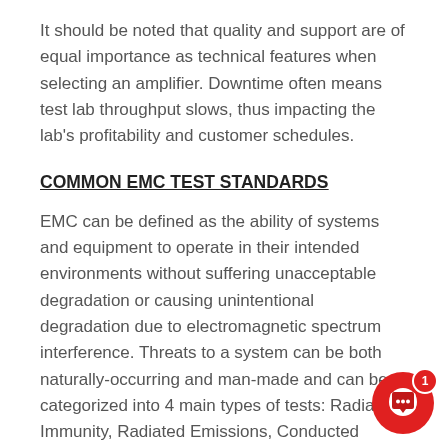It should be noted that quality and support are of equal importance as technical features when selecting an amplifier. Downtime often means test lab throughput slows, thus impacting the lab's profitability and customer schedules.
COMMON EMC TEST STANDARDS
EMC can be defined as the ability of systems and equipment to operate in their intended environments without suffering unacceptable degradation or causing unintentional degradation due to electromagnetic spectrum interference. Threats to a system can be both naturally-occurring and man-made and can be categorized into 4 main types of tests: Radiated Immunity, Radiated Emissions, Conducted Immunity and Conducted Emissions. The limits and levels used for these tests are defined